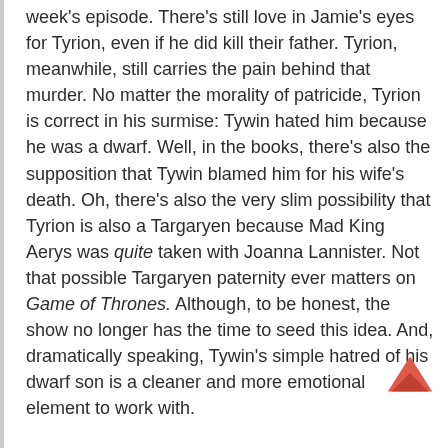week's episode. There's still love in Jamie's eyes for Tyrion, even if he did kill their father. Tyrion, meanwhile, still carries the pain behind that murder. No matter the morality of patricide, Tyrion is correct in his surmise: Tywin hated him because he was a dwarf. Well, in the books, there's also the supposition that Tywin blamed him for his wife's death. Oh, there's also the very slim possibility that Tyrion is also a Targaryen because Mad King Aerys was quite taken with Joanna Lannister. Not that possible Targaryen paternity ever matters on Game of Thrones. Although, to be honest, the show no longer has the time to seed this idea. And, dramatically speaking, Tywin's simple hatred of his dwarf son is a cleaner and more emotional element to work with. And for all that emotion behind that clandestine meetings — including Bronn and Tyrion meeting again — Cersei knew it was happening. Qyburn's use of Varys's little birds is definitely effective; it lead to one